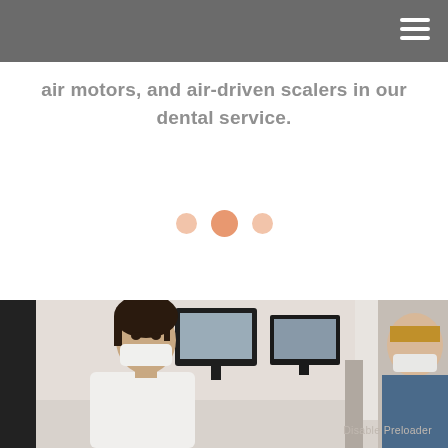air motors, and air-driven scalers in our dental service.
[Figure (infographic): Three pagination dots indicator, two smaller pale salmon dots flanking a larger darker salmon dot in the center, suggesting a carousel or slideshow navigation.]
[Figure (photo): A dental professional wearing a white coat and surgical mask is visible in the foreground with another masked individual to the right. Computer monitors are visible in the background in what appears to be a dental office setting.]
Disable Preloader